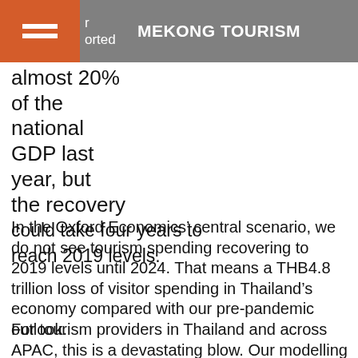MEKONG TOURISM
almost 20% of the national GDP last year, but the recovery could take four years to reach 2019 levels.
In the Oxford Economics’ central scenario, we do not see tourism spending recovering to 2019 levels until 2024. That means a THB4.8 trillion loss of visitor spending in Thailand’s economy compared with our pre-pandemic outlook.
For tourism providers in Thailand and across APAC, this is a devastating blow. Our modelling identifies 40 million “jobs at risk” in the wider